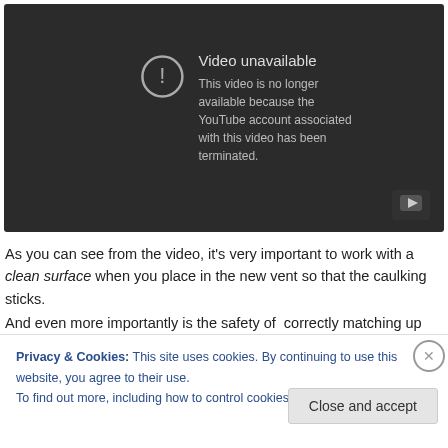[Figure (screenshot): YouTube 'Video unavailable' error screen on dark background. Shows a circle with exclamation mark icon and the message: 'Video unavailable — This video is no longer available because the YouTube account associated with this video has been terminated.' A YouTube play button icon appears in the bottom right corner.]
As you can see from the video, it's very important to work with a clean surface when you place in the new vent so that the caulking sticks.
And even more importantly is the safety of correctly matching up the
Privacy & Cookies: This site uses cookies. By continuing to use this website, you agree to their use.
To find out more, including how to control cookies, see here: Cookie Policy
Close and accept